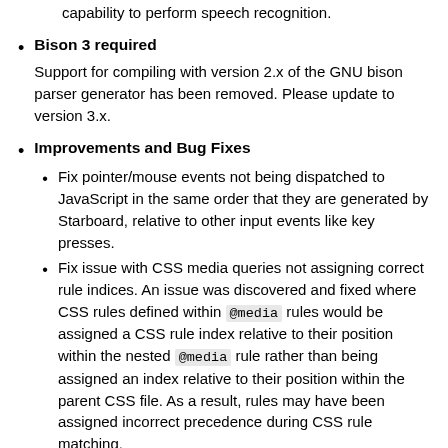capability to perform speech recognition.
Bison 3 required
Support for compiling with version 2.x of the GNU bison parser generator has been removed. Please update to version 3.x.
Improvements and Bug Fixes
Fix pointer/mouse events not being dispatched to JavaScript in the same order that they are generated by Starboard, relative to other input events like key presses.
Fix issue with CSS media queries not assigning correct rule indices. An issue was discovered and fixed where CSS rules defined within @media rules would be assigned a CSS rule index relative to their position within the nested @media rule rather than being assigned an index relative to their position within the parent CSS file. As a result, rules may have been assigned incorrect precedence during CSS rule matching.